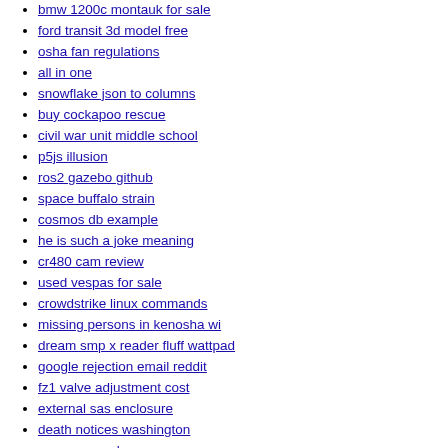bmw 1200c montauk for sale
ford transit 3d model free
osha fan regulations
all in one
snowflake json to columns
buy cockapoo rescue
civil war unit middle school
p5js illusion
ros2 gazebo github
space buffalo strain
cosmos db example
he is such a joke meaning
cr480 cam review
used vespas for sale
crowdstrike linux commands
missing persons in kenosha wi
dream smp x reader fluff wattpad
google rejection email reddit
fz1 valve adjustment cost
external sas enclosure
death notices washington
newer spreader
meet foreign friends online
stolas x human reader
psychedelic truffles amsterdam
half frequency related